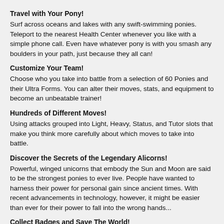Travel with Your Pony!
Surf across oceans and lakes with any swift-swimming ponies. Teleport to the nearest Health Center whenever you like with a simple phone call. Even have whatever pony is with you smash any boulders in your path, just because they all can!
Customize Your Team!
Choose who you take into battle from a selection of 60 Ponies and their Ultra Forms. You can alter their moves, stats, and equipment to become an unbeatable trainer!
Hundreds of Different Moves!
Using attacks grouped into Light, Heavy, Status, and Tutor slots that make you think more carefully about which moves to take into battle.
Discover the Secrets of the Legendary Alicorns!
Powerful, winged unicorns that embody the Sun and Moon are said to be the strongest ponies to ever live. People have wanted to harness their power for personal gain since ancient times. With recent advancements in technology, however, it might be easier than ever for their power to fall into the wrong hands...
Collect Badges and Save The World!
You'll have your skills tested by expert Mavens and fight for your life against the evil Renegade Sects. Stop them before they Alicorns. PTS...